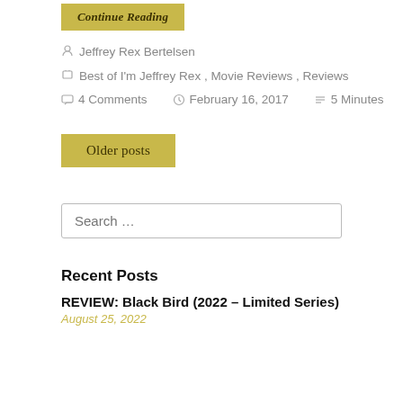Continue Reading
Jeffrey Rex Bertelsen
Best of I'm Jeffrey Rex, Movie Reviews, Reviews
4 Comments   February 16, 2017   5 Minutes
Older posts
Search …
Recent Posts
REVIEW: Black Bird (2022 – Limited Series)
August 25, 2022